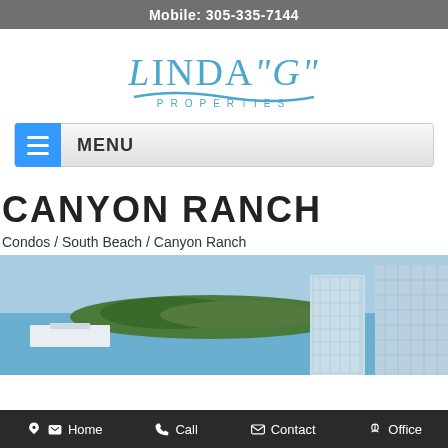Mobile: 305-335-7144
[Figure (logo): Linda G Properties logo with stylized text and wave graphic]
MENU
CANYON RANCH
Condos / South Beach / Canyon Ranch
[Figure (photo): Aerial view of Canyon Ranch condos on South Beach with waterfront and palm trees]
Home  Call  Contact  Office